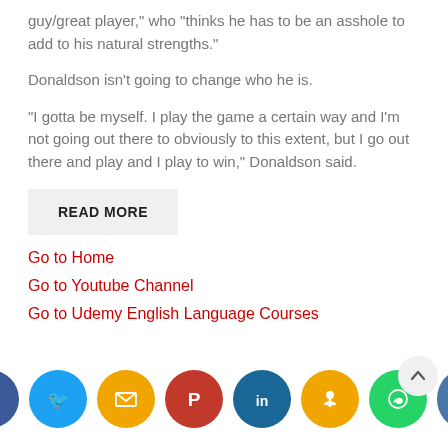guy/great player," who "thinks he has to be an asshole to add to his natural strengths."
Donaldson isn't going to change who he is.
"I gotta be myself. I play the game a certain way and I'm not going out there to obviously to this extent, but I go out there and play and I play to win," Donaldson said.
READ MORE
Go to Home
Go to Youtube Channel
Go to Udemy English Language Courses
[Figure (infographic): Social media share buttons: Facebook (blue), Twitter (light blue), Email (orange), Pinterest (red), LinkedIn (dark blue), Odnoklassniki (orange), WhatsApp (green), VK (blue-grey). Also a scroll-to-top button.]